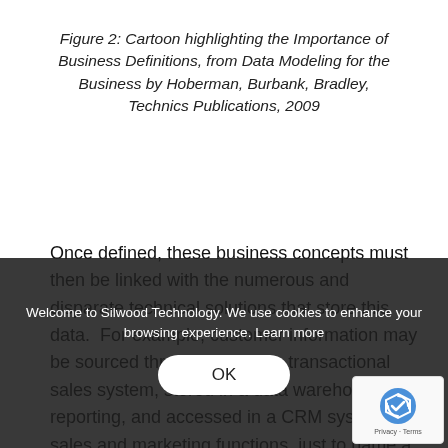Figure 2: Cartoon highlighting the Importance of Business Definitions, from Data Modeling for the Business by Hoberman, Burbank, Bradley, Technics Publications, 2009
Once defined, these business concepts must then be linked with the numerous and disparate technical solutions that store this data.  For example, customer information may be sourced through an online transactional sales system, stored in a data warehouse for reporting, and accessed in a CRM system for sales and marketing functions, just to name a few. A robust metadata management soluti...